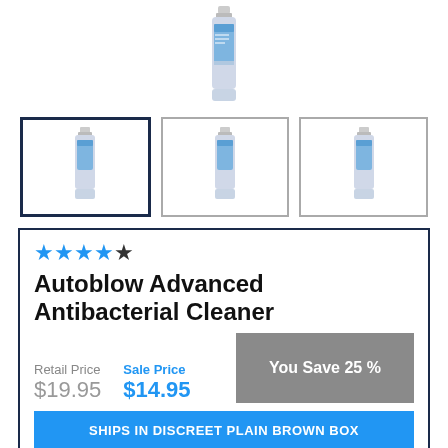[Figure (photo): Main product image of a blue spray bottle cleaner]
[Figure (photo): Three thumbnail images of the blue spray bottle cleaner, first one selected with dark border]
Autoblow Advanced Antibacterial Cleaner
★★★★☆ (4 out of 5 stars)
Retail Price $19.95   Sale Price $14.95   You Save 25 %
SHIPS IN DISCREET PLAIN BROWN BOX
Bacterial infections inside of your penis are not fun. Really. That's why smart guys who play with sex toys